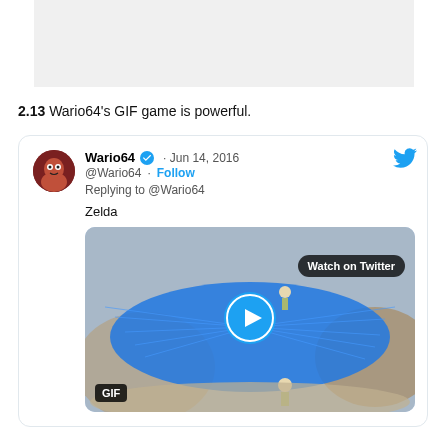[Figure (screenshot): Partial image placeholder at top of page, light gray background]
2.13 Wario64's GIF game is powerful.
[Figure (screenshot): Embedded tweet from @Wario64 dated Jun 14, 2016. Text: 'Zelda'. Shows a GIF thumbnail of a Zelda game scene with blue wing-like effect, a play button overlay, a 'Watch on Twitter' button, and a GIF label. Twitter bird icon top right.]